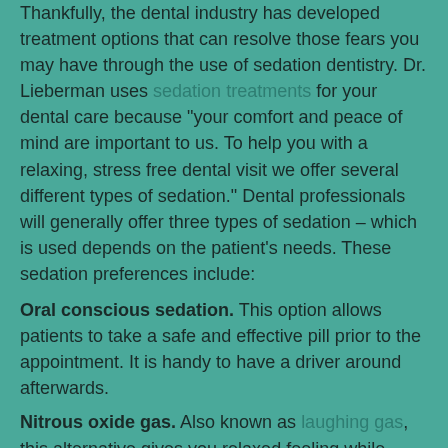Thankfully, the dental industry has developed treatment options that can resolve those fears you may have through the use of sedation dentistry. Dr. Lieberman uses sedation treatments for your dental care because "your comfort and peace of mind are important to us. To help you with a relaxing, stress free dental visit we offer several different types of sedation." Dental professionals will generally offer three types of sedation – which is used depends on the patient's needs. These sedation preferences include:
Oral conscious sedation. This option allows patients to take a safe and effective pill prior to the appointment. It is handy to have a driver around afterwards.
Nitrous oxide gas. Also known as laughing gas, this alternative gives you relaxed feeling while receiving treatment, but will wear off quickly once the procedure is complete.